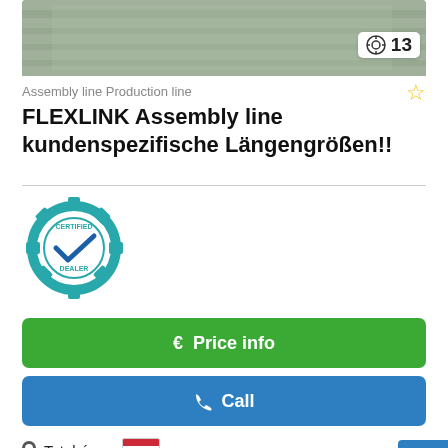[Figure (photo): Industrial assembly line conveyor machinery photo, partially visible at top of listing]
🔍 13
Assembly line Production line
FLEXLINK Assembly line kundenspezifische Längengrößen!!
[Figure (logo): Certified Dealer badge with gear and checkmark]
€ Price info
📞 Call
📍 Tatabánya 🇭🇺
🚩 7313 km
🔧 excellent (used)
Complete ... Wyfdamej
✈ Save search query